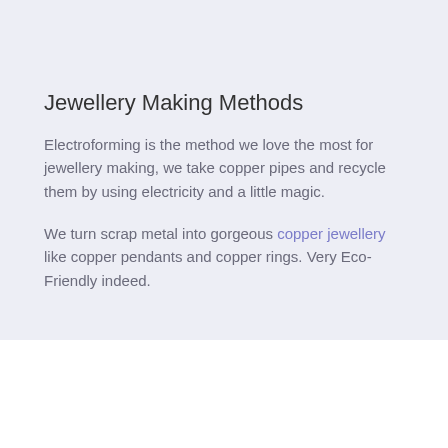Jewellery Making Methods
Electroforming is the method we love the most for jewellery making, we take copper pipes and recycle them by using electricity and a little magic.
We turn scrap metal into gorgeous copper jewellery like copper pendants and copper rings. Very Eco-Friendly indeed.